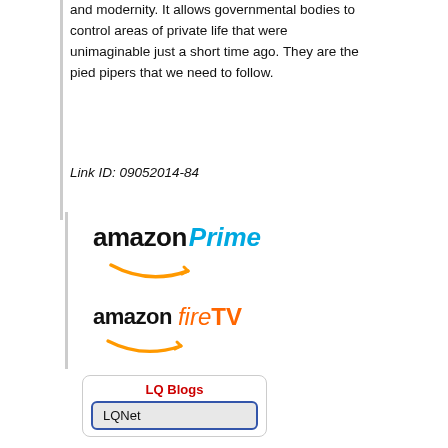and modernity. It allows governmental bodies to control areas of private life that were unimaginable just a short time ago. They are the pied pipers that we need to follow.
Link ID: 09052014-84
[Figure (logo): Amazon Prime logo with amazon text in black bold and Prime in blue italic, with orange smile arrow underneath]
[Figure (logo): Amazon fireTV logo with amazon text in black bold and fireTV in orange, with orange smile arrow underneath]
[Figure (screenshot): LQ Blogs widget box with red bold title LQ Blogs and a rounded rectangle button labeled LQNet]